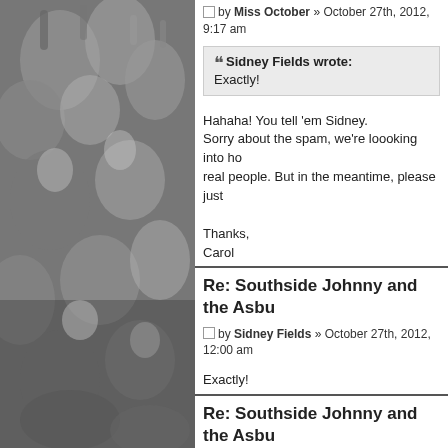[Figure (photo): Black and white photo of a crowd of people with hands raised, partially cropped on the left side of the page.]
by Miss October » October 27th, 2012, 9:17 am
Sidney Fields wrote:
Exactly!
Hahaha! You tell 'em Sidney.
Sorry about the spam, we're loooking into ho... real people. But in the meantime, please just...

Thanks,
Carol
Re: Southside Johnny and the Asbu...
by Sidney Fields » October 27th, 2012, 12:00 am
Exactly!
Re: Southside Johnny and the Asbu...
by eta2359 » October 26th, 2012, 8:42 pm
Southside Johnny and the Asbury Jukes at th...